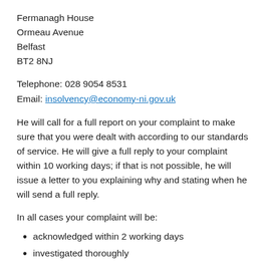Fermanagh House
Ormeau Avenue
Belfast
BT2 8NJ
Telephone: 028 9054 8531
Email: insolvency@economy-ni.gov.uk
He will call for a full report on your complaint to make sure that you were dealt with according to our standards of service. He will give a full reply to your complaint within 10 working days; if that is not possible, he will issue a letter to you explaining why and stating when he will send a full reply.
In all cases your complaint will be:
acknowledged within 2 working days
investigated thoroughly